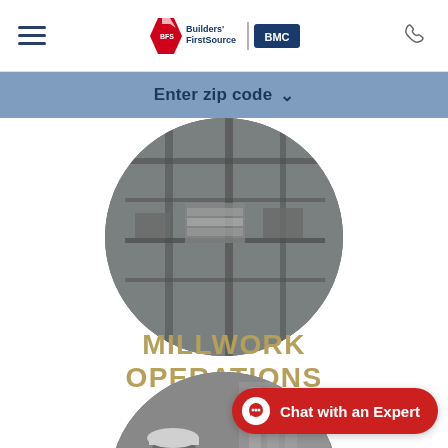Builders FirstSource | BMC — navigation header with hamburger menu and phone icon
Enter zip code ▾
[Figure (photo): Circular cropped grayscale photograph of a millwork operations facility interior, showing industrial equipment, steel structures, and stacked materials viewed from above.]
MILLWORK OPERATIONS
[Figure (photo): Circular cropped grayscale photograph of a worker wearing a hard hat bending over to work on millwork/door frames or panels outside a building.]
Chat with an Expert